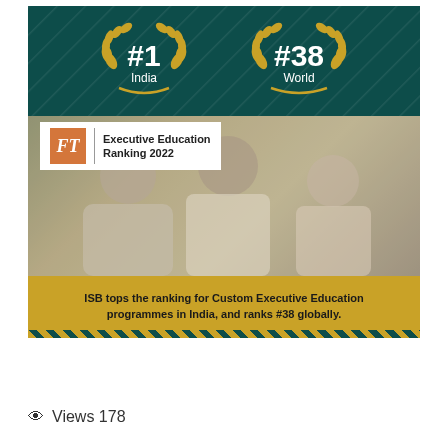[Figure (infographic): ISB ranking infographic showing #1 India and #38 World rankings from FT Executive Education Ranking 2022, with photo of three smiling people and gold caption strip reading 'ISB tops the ranking for Custom Executive Education programmes in India, and ranks #38 globally.']
👁 Views 178